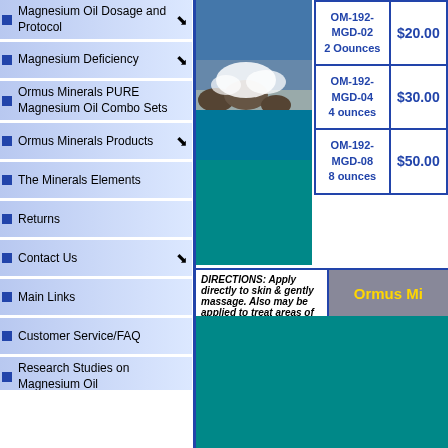Magnesium Oil Dosage and Protocol
Magnesium Deficiency
Ormus Minerals PURE Magnesium Oil Combo Sets
Ormus Minerals Products
The Minerals Elements
Returns
Contact Us
Main Links
Customer Service/FAQ
Research Studies on Magnesium Oil
Privacy
Magnesium Oil Site Map
Links to More ORMUS Minerals Information
| Product Code | Price |
| --- | --- |
| OM-192-MGD-02
2 Oounces | $20.00 |
| OM-192-MGD-04
4 ounces | $30.00 |
| OM-192-MGD-08
8 ounces | $50.00 |
DIRECTIONS: Apply directly to skin & gently massage. Also may be applied to treat areas of pain
Ormus Mi...